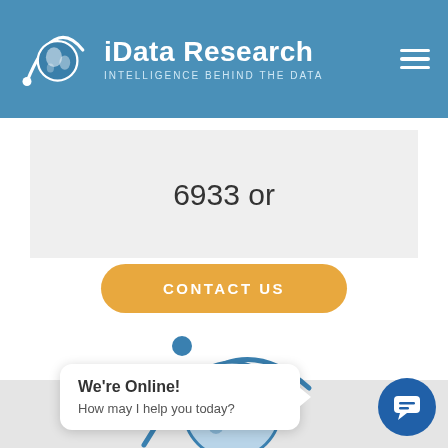[Figure (logo): iData Research logo with globe and orbit arc, white on blue background, with text 'iData Research' and 'INTELLIGENCE BEHIND THE DATA']
6933 or
[Figure (other): Gold/yellow 'CONTACT US' button with rounded pill shape]
[Figure (logo): Large iData Research globe logo in footer gray area]
We're Online!
How may I help you today?